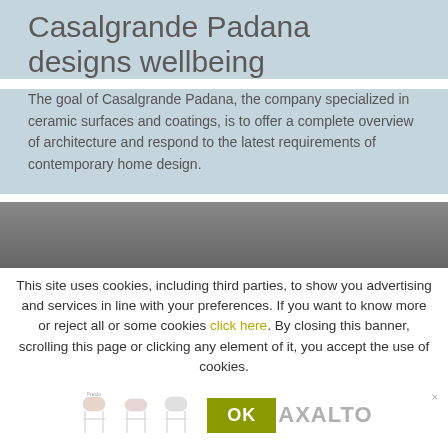Casalgrande Padana designs wellbeing
The goal of Casalgrande Padana, the company specialized in ceramic surfaces and coatings, is to offer a complete overview of architecture and respond to the latest requirements of contemporary home design.
[Figure (photo): Gray rectangular banner area, dark gray gradient background]
This site uses cookies, including third parties, to show you advertising and services in line with your preferences. If you want to know more or reject all or some cookies click here. By closing this banner, scrolling this page or clicking any element of it, you accept the use of cookies.
[Figure (illustration): Row of three chairs (B&B Italia / Maxalto style) in pale pink/white, alongside an OK button and the MAXALTO logo]